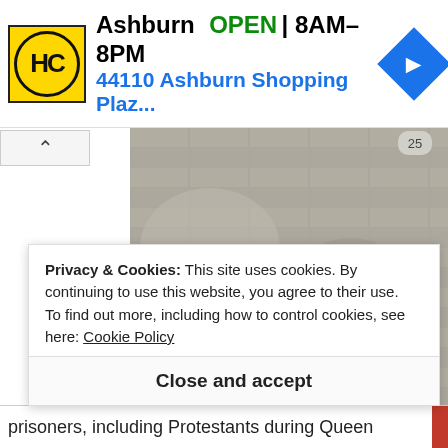[Figure (advertisement): Harbour Centre (HC) business ad showing Ashburn location, OPEN 8AM-8PM, address 44110 Ashburn Shopping Plaz..., with navigation icon]
[Figure (photo): Stone wall with carved graffiti text and a museum placard reading about Henry Walpole, priest of the Society of Jesus, captured on a secret mission to England in 1593]
Privacy & Cookies: This site uses cookies. By continuing to use this website, you agree to their use.
To find out more, including how to control cookies, see here: Cookie Policy
Close and accept
prisoners, including Protestants during Queen